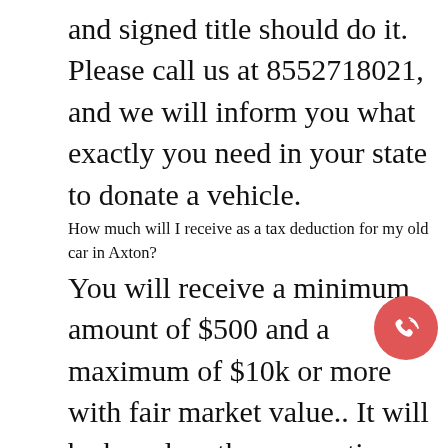and signed title should do it. Please call us at 8552718021, and we will inform you what exactly you need in your state to donate a vehicle.
How much will I receive as a tax deduction for my old car in Axton?
You will receive a minimum amount of $500 and a maximum of $10k or more with fair market value.. It will be based on the car auction bidding. Do you still have questions regarding Car donation near Axton? Send us an email including your message online.
How do you determine the value of my used Car with Car donation program in Axton?
If your vehicle is disabled then the minimum